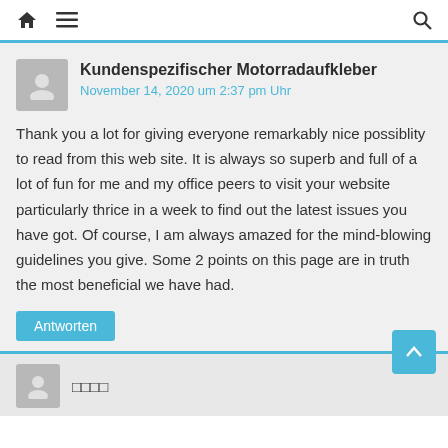Home | Menu | Search
Kundenspezifischer Motorradaufkleber
November 14, 2020 um 2:37 pm Uhr
Thank you a lot for giving everyone remarkably nice possiblity to read from this web site. It is always so superb and full of a lot of fun for me and my office peers to visit your website particularly thrice in a week to find out the latest issues you have got. Of course, I am always amazed for the mind-blowing guidelines you give. Some 2 points on this page are in truth the most beneficial we have had.
Antworten
□□□□